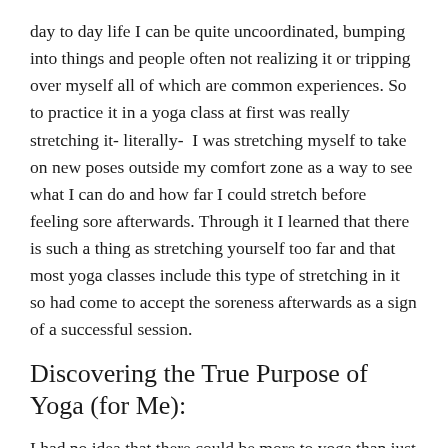day to day life I can be quite uncoordinated, bumping into things and people often not realizing it or tripping over myself all of which are common experiences. So to practice it in a yoga class at first was really stretching it- literally-  I was stretching myself to take on new poses outside my comfort zone as a way to see what I can do and how far I could stretch before feeling sore afterwards. Through it I learned that there is such a thing as stretching yourself too far and that most yoga classes include this type of stretching in it so had come to accept the soreness afterwards as a sign of a successful session.
Discovering the True Purpose of Yoga (for Me):
I had no idea that there could be more to yoga than just stretching or that it could be an enjoyable feel good experience until I took a step back from these experiences and stepped into the right class. One that challenges me but not so far that I've having to de-stretch myself back into normal shape afterwards